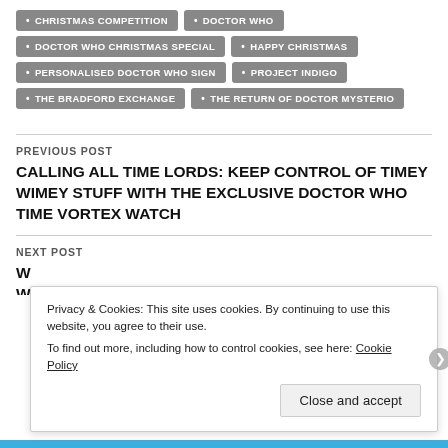CHRISTMAS COMPETITION
DOCTOR WHO
DOCTOR WHO CHRISTMAS SPECIAL
HAPPY CHRISTMAS
PERSONALISED DOCTOR WHO SIGN
PROJECT INDIGO
THE BRADFORD EXCHANGE
THE RETURN OF DOCTOR MYSTERIO
PREVIOUS POST
CALLING ALL TIME LORDS: KEEP CONTROL OF TIMEY WIMEY STUFF WITH THE EXCLUSIVE DOCTOR WHO TIME VORTEX WATCH
NEXT POST
Privacy & Cookies: This site uses cookies. By continuing to use this website, you agree to their use.
To find out more, including how to control cookies, see here: Cookie Policy
Close and accept